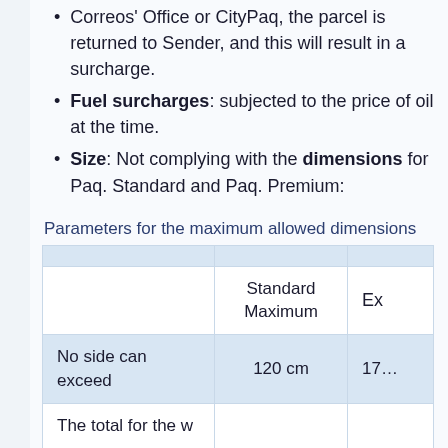Correos' Office or CityPaq, the parcel is returned to Sender, and this will result in a surcharge.
Fuel surcharges: subjected to the price of oil at the time.
Size: Not complying with the dimensions for Paq. Standard and Paq. Premium:
Parameters for the maximum allowed dimensions
|  | Standard Maximum | Ex… |
| --- | --- | --- |
| No side can exceed | 120 cm | 17… |
| The total for the w |  |  |